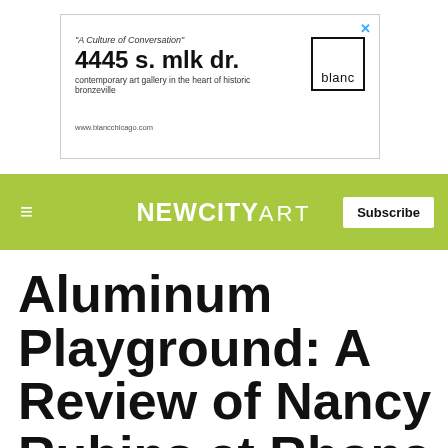[Figure (other): Advertisement banner for 'blanc' gallery at 4445 s. mlk dr., a contemporary art gallery in the heart of historic bronzeville. Features the gallery address in large bold text, tagline 'A Culture of Conversation', website www.blancchicago.com, and a logo box with the word 'blanc'.]
NEWCITYART  Subscribe
Aluminum Playground: A Review of Nancy Rubins at Rhona Hoffman Gallery